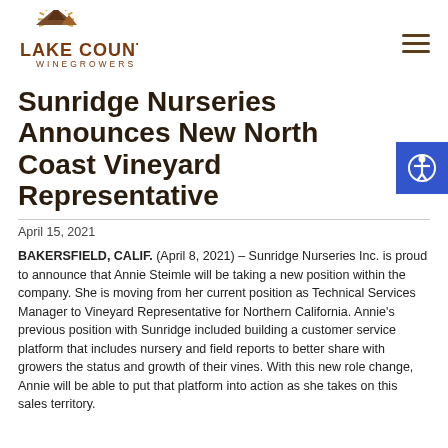[Figure (logo): Lake County Winegrowers logo with mountain and sun rays graphic above the text LAKE COUNTY WINEGROWERS]
Sunridge Nurseries Announces New North Coast Vineyard Representative
April 15, 2021
BAKERSFIELD, CALIF. (April 8, 2021) – Sunridge Nurseries Inc. is proud to announce that Annie Steimle will be taking a new position within the company. She is moving from her current position as Technical Services Manager to Vineyard Representative for Northern California. Annie's previous position with Sunridge included building a customer service platform that includes nursery and field reports to better share with growers the status and growth of their vines. With this new role change, Annie will be able to put that platform into action as she takes on this sales territory.